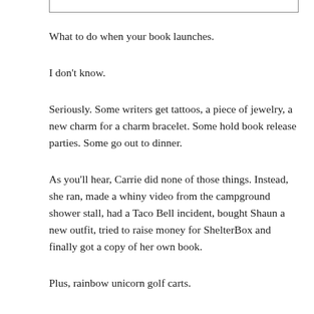What to do when your book launches.
I don't know.
Seriously. Some writers get tattoos, a piece of jewelry, a new charm for a charm bracelet. Some hold book release parties. Some go out to dinner.
As you'll hear, Carrie did none of those things. Instead, she ran, made a whiny video from the campground shower stall, had a Taco Bell incident, bought Shaun a new outfit, tried to raise money for ShelterBox and finally got a copy of her own book.
Plus, rainbow unicorn golf carts.